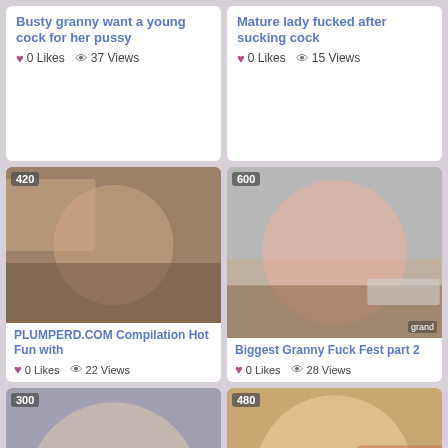Busty granny want a young cock for her pussy
0 Likes  37 Views
Mature lady fucked after sucking cock
0 Likes  15 Views
[Figure (photo): Video thumbnail with badge 420]
PLUMPERD.COM Compilation Hot Fun with
0 Likes  22 Views
[Figure (photo): Video thumbnail with badge 600, watermark 'grand']
Biggest Granny Fuck Fest part 2
0 Likes  28 Views
[Figure (photo): Video thumbnail with badge 300, text overlay at bottom]
[Figure (photo): Video thumbnail with badge 480]
English